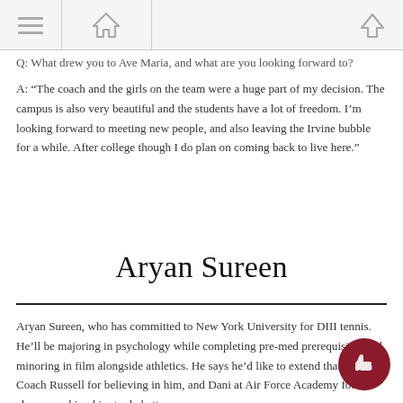[Navigation bar with hamburger menu, home icon, and up arrow]
Q: What drew you to Ave Maria, and what are you looking forward to?
A: "The coach and the girls on the team were a huge part of my decision. The campus is also very beautiful and the students have a lot of freedom. I'm looking forward to meeting new people, and also leaving the Irvine bubble for a while. After college though I do plan on coming back to live here."
Aryan Sureen
Aryan Sureen, who has committed to New York University for DIII tennis. He'll be majoring in psychology while completing pre-med prerequisites and minoring in film alongside athletics. He says he'd like to extend thanks to Coach Russell for believing in him, and Dani at Air Force Academy for always pushing him to do better.